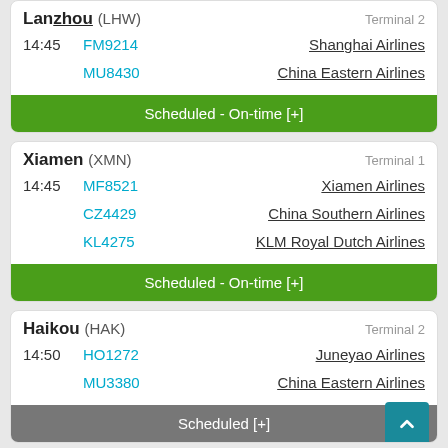Lanzhou (LHW) — Terminal 2, 14:45, FM9214 Shanghai Airlines, MU8430 China Eastern Airlines, Scheduled - On-time [+]
Xiamen (XMN) — Terminal 1, 14:45, MF8521 Xiamen Airlines, CZ4429 China Southern Airlines, KL4275 KLM Royal Dutch Airlines, Scheduled - On-time [+]
Haikou (HAK) — Terminal 2, 14:50, HO1272 Juneyao Airlines, MU3380 China Eastern Airlines, Scheduled [+]
Chengdu (CTU) — Terminal 2